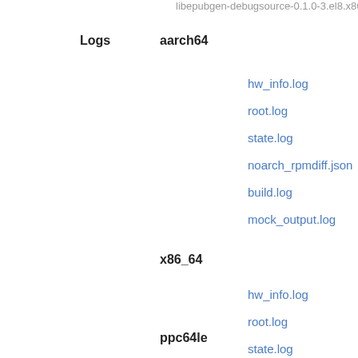libepubgen-debugsource-0.1.0-3.el8.x86_6
Logs
aarch64
hw_info.log
root.log
state.log
noarch_rpmdiff.json
build.log
mock_output.log
x86_64
hw_info.log
root.log
state.log
noarch_rpmdiff.json
build.log
mock_output.log
ppc64le